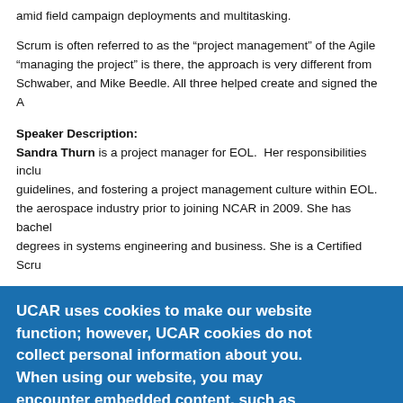amid field campaign deployments and multitasking.
Scrum is often referred to as the “project management” of the Agile “managing the project” is there, the approach is very different from Schwaber, and Mike Beedle. All three helped create and signed the A
Speaker Description:
Sandra Thurn is a project manager for EOL. Her responsibilities inclu guidelines, and fostering a project management culture within EOL. the aerospace industry prior to joining NCAR in 2009. She has bachel degrees in systems engineering and business. She is a Certified Scru
Greg Stossmeister heads the Collaborative Tools and Metadata Gro Greg has a BS in Physics and MS in Meteorology. His scientific resear software engineering experience areas are scientific analysis, data v
UCAR uses cookies to make our website function; however, UCAR cookies do not collect personal information about you. When using our website, you may encounter embedded content, such as